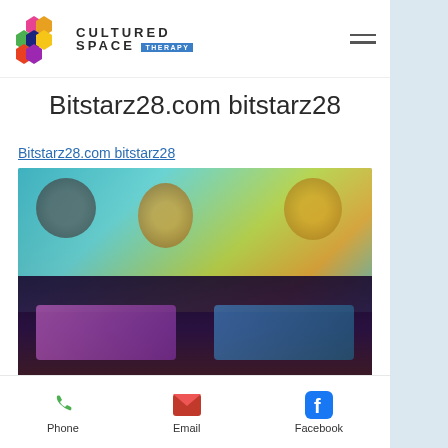Cultured Space Therapy
Bitstarz28.com bitstarz28
Bitstarz28.com bitstarz28
[Figure (screenshot): Blurred screenshot of a casino/gambling website interface showing game thumbnails with colorful graphics]
Phone  Email  Facebook